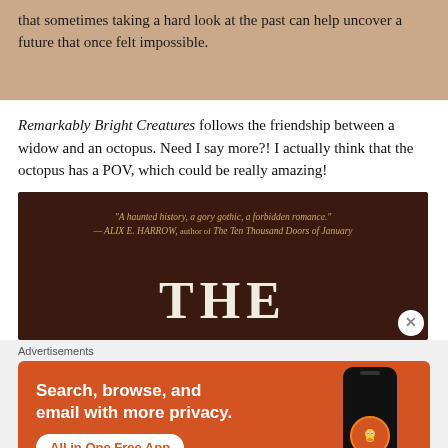that sometimes taking a hard look at the past can help uncover a future that once felt impossible.
Remarkably Bright Creatures follows the friendship between a widow and an octopus. Need I say more?! I actually think that the octopus has a POV, which could be really amazing!
[Figure (photo): Book cover image with dark brown background showing a quote: 'A haunted history, a gory gothic, a forbidden romance.' — ALIX E. HARROW, author of The Ten Thousand Doors of January. Large text 'THE' visible at bottom.]
Advertisements
[Figure (infographic): DuckDuckGo advertisement banner with orange background. Text reads: Search, browse, and email with more privacy. All in One Free App. Shows a phone with DuckDuckGo logo.]